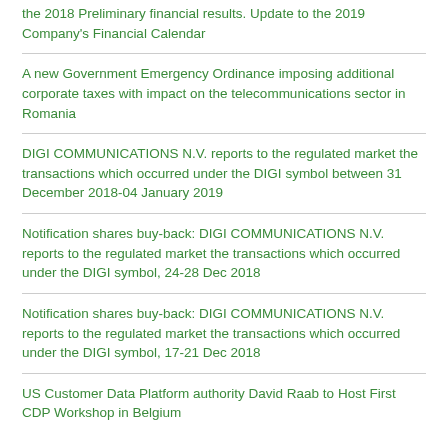the 2018 Preliminary financial results. Update to the 2019 Company's Financial Calendar
A new Government Emergency Ordinance imposing additional corporate taxes with impact on the telecommunications sector in Romania
DIGI COMMUNICATIONS N.V. reports to the regulated market the transactions which occurred under the DIGI symbol between 31 December 2018-04 January 2019
Notification shares buy-back: DIGI COMMUNICATIONS N.V. reports to the regulated market the transactions which occurred under the DIGI symbol, 24-28 Dec 2018
Notification shares buy-back: DIGI COMMUNICATIONS N.V. reports to the regulated market the transactions which occurred under the DIGI symbol, 17-21 Dec 2018
US Customer Data Platform authority David Raab to Host First CDP Workshop in Belgium